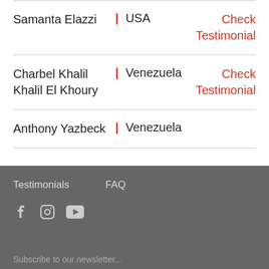Samanta Elazzi | USA — Check Testimonial
Charbel Khalil Khalil El Khoury | Venezuela — Check Testimonial
Anthony Yazbeck | Venezuela
Testimonials   FAQ   [social icons: Facebook, Instagram, YouTube]   Subscribe to our newsletter...